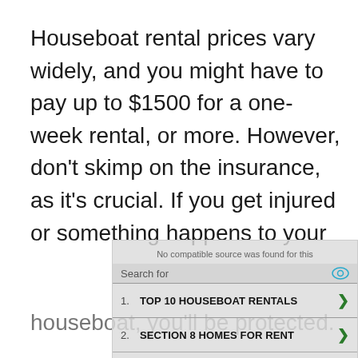Houseboat rental prices vary widely, and you might have to pay up to $1500 for a one-week rental, or more. However, don't skimp on the insurance, as it's crucial. If you get injured or something happens to your houseboat, you'll be protected. And...
[Figure (screenshot): Ad overlay showing a search widget with 'No compatible source was found for this' message, search bar with eye icon, two search results: '1. TOP 10 HOUSEBOAT RENTALS' and '2. SECTION 8 HOMES FOR RENT', and footer with 'Ad | Business Focus' branding.]